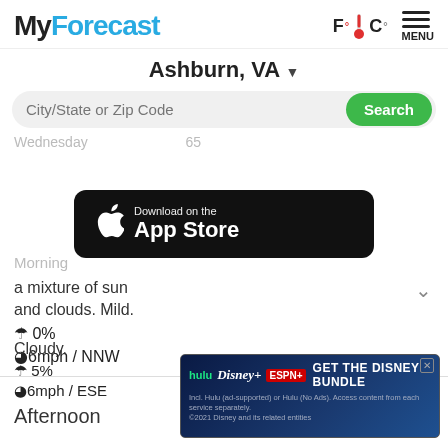MyForecast
F° C° MENU
Ashburn, VA ▾
City/State or Zip Code
Search
Wednesday
[Figure (screenshot): Apple App Store download banner on black background with Apple logo]
Morning
a mixture of sun and clouds. Mild.
🌂 0%
⊙ 6mph / NNW
Afternoon
85°
Cloudy.
🌂 5%
⊙ 6mph / ESE
[Figure (infographic): Disney Bundle advertisement banner: hulu Disney+ ESPN+ GET THE DISNEY BUNDLE]